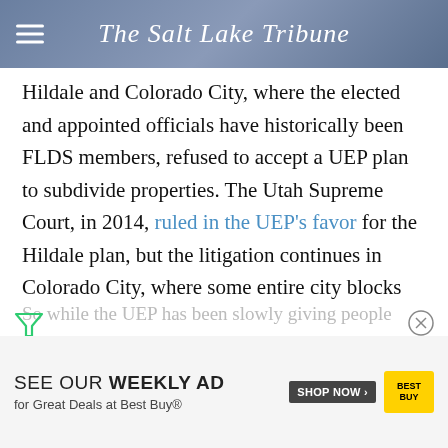The Salt Lake Tribune
Hildale and Colorado City, where the elected and appointed officials have historically been FLDS members, refused to accept a UEP plan to subdivide properties. The Utah Supreme Court, in 2014, ruled in the UEP's favor for the Hildale plan, but the litigation continues in Colorado City, where some entire city blocks are listed as one parcel at the county recorder's office.
So while the UEP has been slowly giving people de[eds]... been unable to do the same in Colorado City.
[Figure (infographic): Best Buy advertisement: SEE OUR WEEKLY AD for Great Deals at Best Buy® with SHOP NOW button and Best Buy logo]